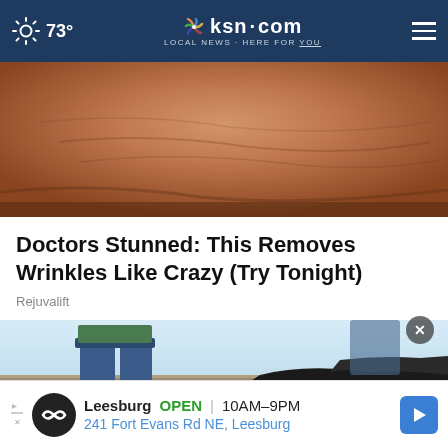73° | ksn.com LOCAL NEWS · HERE FOR YOU
[Figure (photo): Close-up photo of an elderly person's wrinkled neck and lower face, with reddish-tan skin texture]
Doctors Stunned: This Removes Wrinkles Like Crazy (Try Tonight)
Rejuvalift
[Figure (photo): Worker on a rooftop removing or replacing shingles, wearing jeans, with blue sky visible in background]
Leesburg  OPEN | 10AM–9PM
241 Fort Evans Rd NE, Leesburg